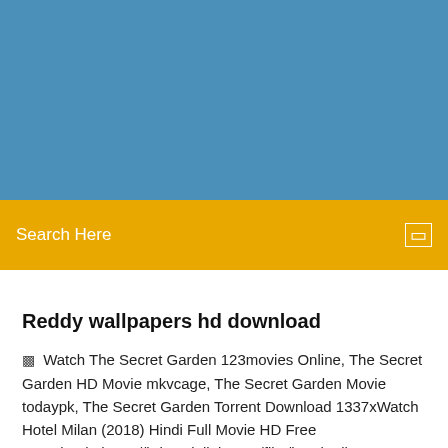[Figure (other): Blue header/banner area at the top of the page]
Search Here
Reddy wallpapers hd download
Watch The Secret Garden 123movies Online, The Secret Garden HD Movie mkvcage, The Secret Garden Movie todaypk, The Secret Garden Torrent Download 1337xWatch Hotel Milan (2018) Hindi Full Movie HD Free Download...https://hdmovielinks.xyz/film/hotel-milan-2018Hotel Milan Full Movie todaypk, Download Hotel Milan 9xmovies, Hotel Milan 2018 Full Hindi Movie, Hotel Milan Movie HD